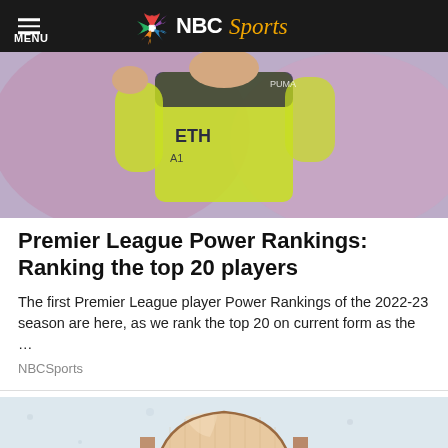MENU | NBC Sports
[Figure (photo): Soccer player in yellow-green Manchester City kit celebrating or gesturing, close-up upper body shot]
Premier League Power Rankings: Ranking the top 20 players
The first Premier League player Power Rankings of the 2022-23 season are here, as we rank the top 20 on current form as the …
NBCSports
[Figure (photo): Close-up macro photo of a human fingernail on a light speckled background]